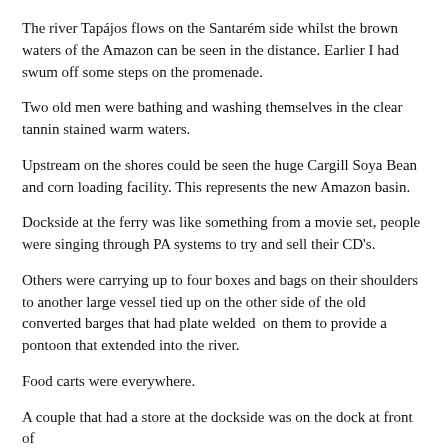The river Tapájos flows on the Santarém side whilst the brown waters of the Amazon can be seen in the distance. Earlier I had swum off some steps on the promenade.
Two old men were bathing and washing themselves in the clear tannin stained warm waters.
Upstream on the shores could be seen the huge Cargill Soya Bean and corn loading facility. This represents the new Amazon basin.
Dockside at the ferry was like something from a movie set, people were singing through PA systems to try and sell their CD's.
Others were carrying up to four boxes and bags on their shoulders to another large vessel tied up on the other side of the old converted barges that had plate welded  on them to provide a pontoon that extended into the river.
Food carts were everywhere.
A couple that had a store at the dockside was on the dock at front of